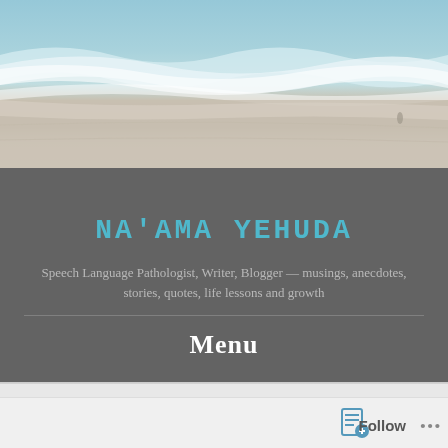[Figure (photo): Beach scene with ocean waves, shoreline with sand, aerial or eye-level view of sea and beach]
NA'AMA YEHUDA
Speech Language Pathologist, Writer, Blogger — musings, anecdotes, stories, quotes, life lessons and growth
Menu
Peaceful Protest
Follow ...